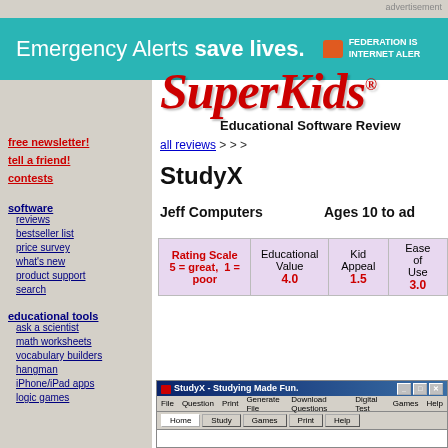advertisement
[Figure (other): Emergency Alerts save lives banner advertisement with teal background, Federation Internet Alert logo on right]
[Figure (logo): SuperKids Educational Software Review logo in red italic serif font]
all reviews > > >
StudyX
Jeff Computers
Ages 10 to adult
free newsletter!
tell a friend!
contests
software
reviews
bestseller list
price survey
what's new
product support
search
educational tools
ask a scientist
math worksheets
vocabulary builders
hangman
iPhone/iPad apps
logic games
| Rating Scale 5 = great, 1 = poor | Educational Value | Kid Appeal | Ease of Use |
| --- | --- | --- | --- |
|  | 4.0 | 1.5 | 3.0 |
[Figure (screenshot): StudyX - Studying Made Fun application window screenshot showing Windows title bar and navigation tabs]